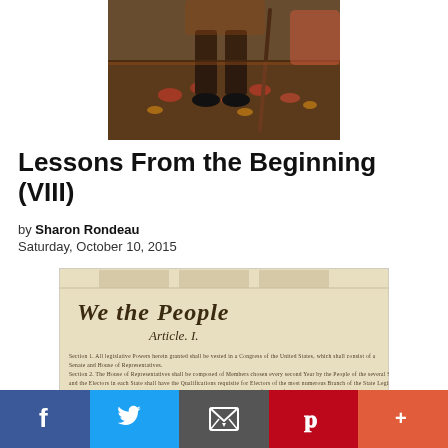[Figure (photo): Cropped painting showing legs and feet of historical figure on an ornate rug, with a walking stick]
Lessons From the Beginning (VIII)
by Sharon Rondeau
Saturday, October 10, 2015
[Figure (photo): Image of the US Constitution document showing 'We the People' header in cursive script with Article I text below]
Social share bar with Facebook, Twitter, Email, Pinterest, and More buttons